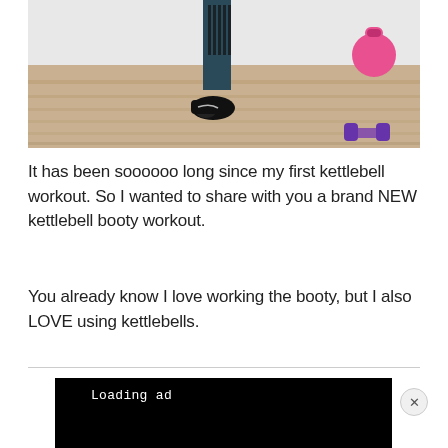[Figure (photo): Photo of a person's legs wearing patterned leggings and black Nike sneakers standing on a wooden floor, with pink and purple dumbbells and a pink kettlebell visible in the background.]
It has been soooooo long since my first kettlebell workout. So I wanted to share with you a brand NEW kettlebell booty workout.
You already know I love working the booty, but I also LOVE using kettlebells.
[Figure (other): Advertisement loading placeholder: black bar with 'Loading ad' text in monospace font, followed by a light grey area below, with an X close button on the right.]